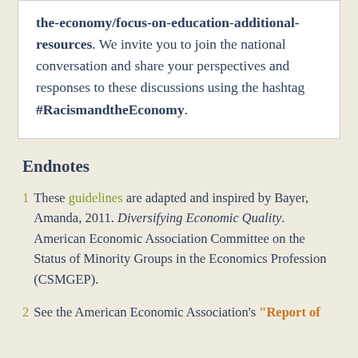the-economy/focus-on-education-additional-resources. We invite you to join the national conversation and share your perspectives and responses to these discussions using the hashtag #RacismandtheEconomy.
Endnotes
1 These guidelines are adapted and inspired by Bayer, Amanda, 2011. Diversifying Economic Quality. American Economic Association Committee on the Status of Minority Groups in the Economics Profession (CSMGEP).
2 See the American Economic Association's "Report of